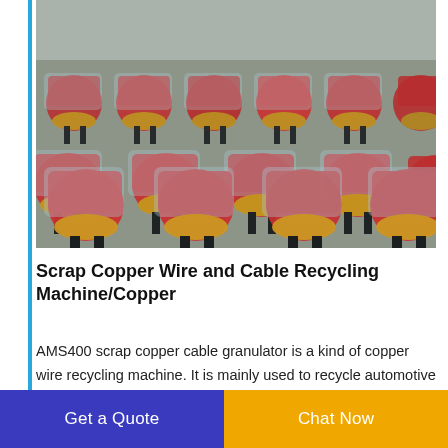[Figure (photo): Rows of red-topped scrap copper wire recycling machines (AMS400 granulators) wrapped in plastic, with yellow/gold circular bases, stored outdoors on a concrete/gravel surface.]
Scrap Copper Wire and Cable Recycling Machine/Copper
AMS400 scrap copper cable granulator is a kind of copper wire recycling machine. It is mainly used to recycle automotive wire telephone wire and cables and other scrap wire. It is an all-in-one unit which combines many functions in